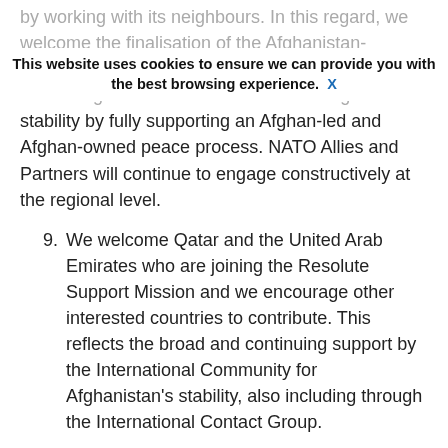by working with its neighbours. In this regard, we welcome the finalisation of the Afghanistan-Pakistan Action Plan for Peace and Solidarity. We call on regional actors to contribute to regional stability by fully supporting an Afghan-led and Afghan-owned peace process. NATO Allies and Partners will continue to engage constructively at the regional level.
This website uses cookies to ensure we can provide you with the best browsing experience. X
9. We welcome Qatar and the United Arab Emirates who are joining the Resolute Support Mission and we encourage other interested countries to contribute. This reflects the broad and continuing support by the International Community for Afghanistan's stability, also including through the International Contact Group.
10. NATO Allies and Operational Partners have increased force-levels to maximise the ability to train, advise and assist the Afghan forces, and we announce today that we have committed to: